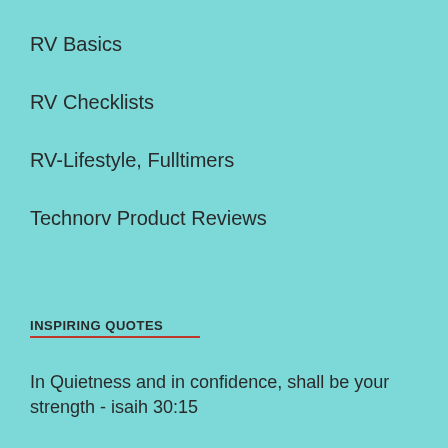RV Basics
RV Checklists
RV-Lifestyle, Fulltimers
Technorv Product Reviews
INSPIRING QUOTES
In Quietness and in confidence, shall be your strength - isaih 30:15